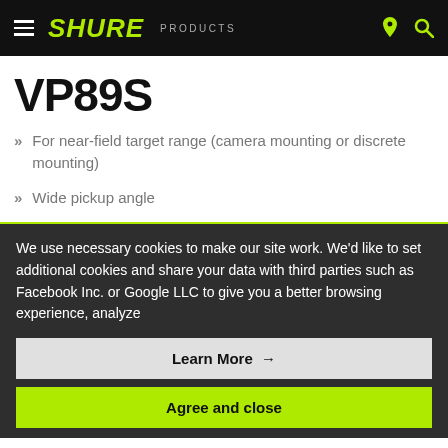SHURE  PRODUCTS
VP89S
For near-field target range (camera mounting or discrete mounting)
Wide pickup angle
We use necessary cookies to make our site work. We'd like to set additional cookies and share your data with third parties such as Facebook Inc. or Google LLC to give you a better browsing experience, analyze
Learn More →
Agree and close